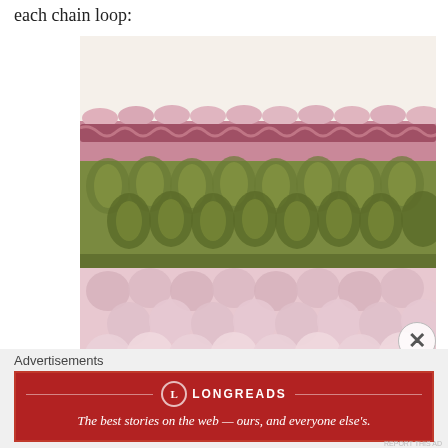each chain loop:
[Figure (photo): Close-up photograph of crochet stitches in three horizontal bands of color: light pink/mauve at top forming a scalloped chain edge, olive green in the middle with dense textured stitches, and pale pink at the bottom with shell-like stitches.]
Advertisements
[Figure (logo): Longreads advertisement banner in red with white text: 'The best stories on the web — ours, and everyone else's.' with Longreads logo (L in circle) centered at top.]